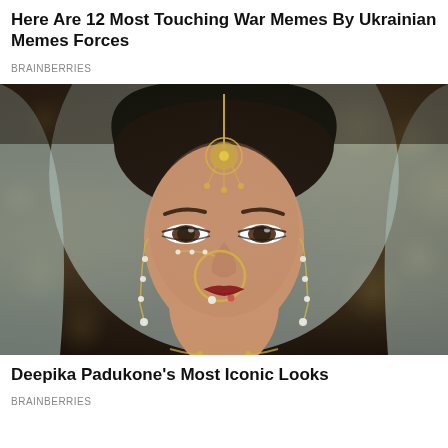Here Are 12 Most Touching War Memes By Ukrainian Memes Forces
BRAINBERRIES
[Figure (photo): Close-up portrait of a woman (Deepika Padukone) wearing traditional Indian bridal jewelry including a maang tikka (forehead ornament), nose ring (nath), and earrings, draped in a light blue dupatta/veil against a dark bokeh background.]
Deepika Padukone's Most Iconic Looks
BRAINBERRIES